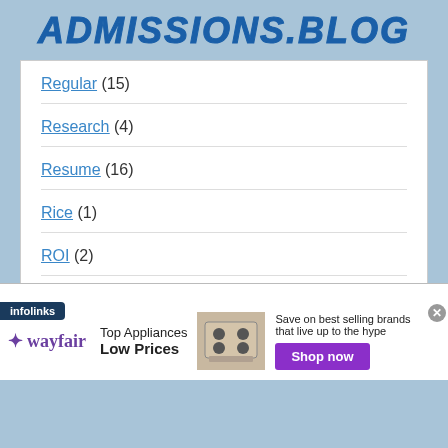ADMISSIONS.BLOG
Regular (15)
Research (4)
Resume (16)
Rice (1)
ROI (2)
Rolling (5)
[Figure (infographic): Wayfair advertisement banner: Top Appliances Low Prices, with stove image and Shop now button]